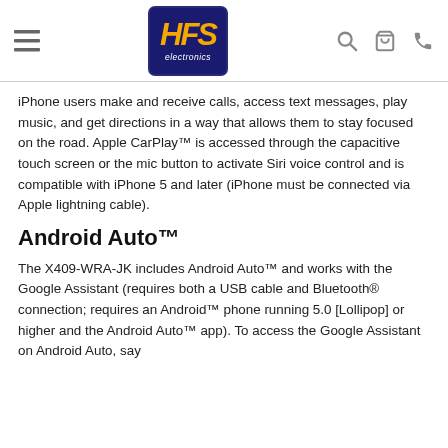HFS electronics navigation header with hamburger menu, logo, search, cart, and phone icons
iPhone users make and receive calls, access text messages, play music, and get directions in a way that allows them to stay focused on the road. Apple CarPlay™ is accessed through the capacitive touch screen or the mic button to activate Siri voice control and is compatible with iPhone 5 and later (iPhone must be connected via Apple lightning cable).
Android Auto™
The X409-WRA-JK includes Android Auto™ and works with the Google Assistant (requires both a USB cable and Bluetooth® connection; requires an Android™ phone running 5.0 [Lollipop] or higher and the Android Auto™ app). To access the Google Assistant on Android Auto, say